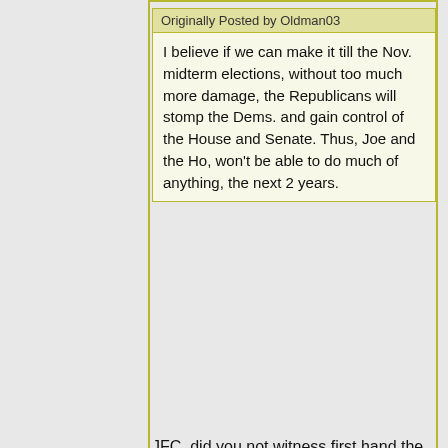Originally Posted by Oldman03
I believe if we can make it till the Nov. midterm elections, without too much more damage, the Republicans will stomp the Dems. and gain control of the House and Senate. Thus, Joe and the Ho, won't be able to do much of anything, the next 2 years.
JFC, did you not witness first hand the massive blatant fraud that was the 2020 election.
Has any Real and Honest attempt anywhere been
The more fed-up people vote the more the Dominion algorithms will kick in.
Re: Hurray! It's Bid... → steve4102 01/22/22 < #16869205
Oldman03  Campfire 'Bwana  Joined: Nov 2009  Posts: 14,504